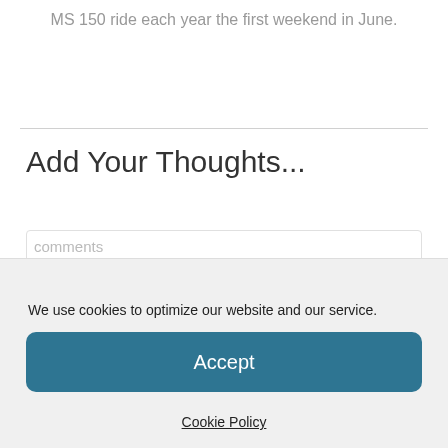MS 150 ride each year the first weekend in June.
Add Your Thoughts...
comments
We use cookies to optimize our website and our service.
Accept
Cookie Policy